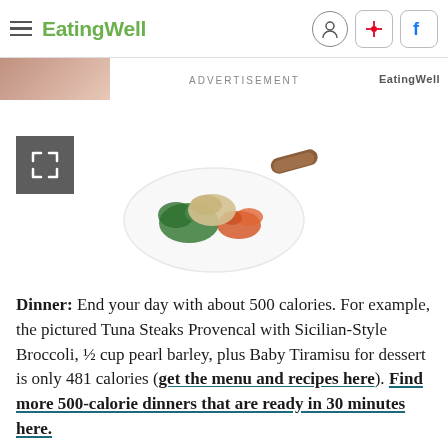EatingWell
ADVERTISEMENT
[Figure (photo): A plate with tuna steak, broccoli, tomatoes, and pearl barley, with a small sausage on the side, photographed from above on a white background.]
Dinner: End your day with about 500 calories. For example, the pictured Tuna Steaks Provencal with Sicilian-Style Broccoli, ½ cup pearl barley, plus Baby Tiramisu for dessert is only 481 calories (get the menu and recipes here). Find more 500-calorie dinners that are ready in 30 minutes here.